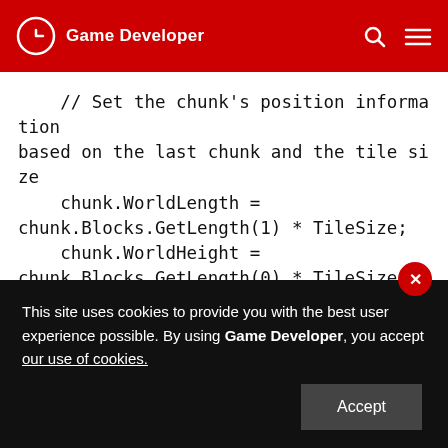Game Developer
// Set the chunk's position information based on the last chunk and the tile size
    chunk.WorldLength = chunk.Blocks.GetLength(1) * TileSize;
    chunk.WorldHeight = chunk.Blocks.GetLength(0) * TileSize;

    tmpPos.x = chunk.WorldX = (chunks.Count > 0) ?
This site uses cookies to provide you with the best user experience possible. By using Game Developer, you accept our use of cookies.